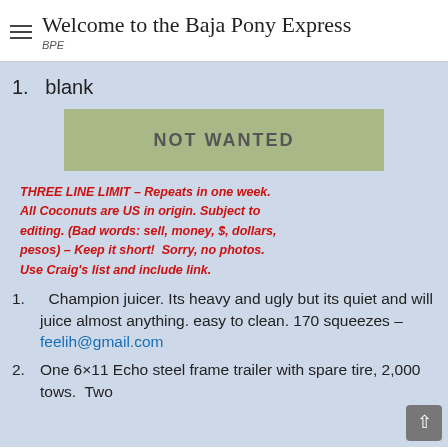Welcome to the Baja Pony Express
BPE
1. blank
[Figure (other): Green-gray rectangular banner with text NOT WANTED in bold gray letters]
THREE LINE LIMIT – Repeats in one week. All Coconuts are US in origin. Subject to editing. (Bad words: sell, money, $, dollars, pesos) – Keep it short! Sorry, no photos. Use Craig's list and include link.
1. Champion juicer. Its heavy and ugly but its quiet and will juice almost anything. easy to clean. 170 squeezes – feelih@gmail.com
2. One 6×11 Echo steel frame trailer with spare tire, 2,000 tows. Two